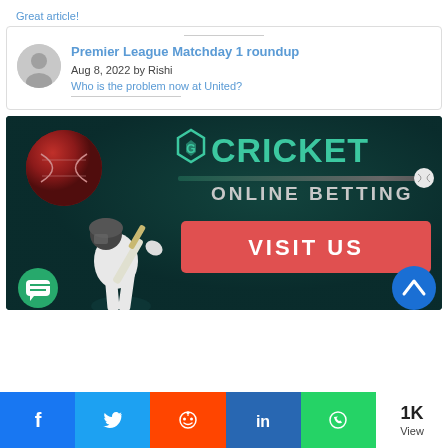Great article!
Premier League Matchday 1 roundup
Aug 8, 2022 by Rishi
Who is the problem now at United?
[Figure (photo): Cricket online betting advertisement banner with cricket ball, batsman silhouette, logo, and VISIT US button on dark teal background]
1K View with Facebook, Twitter, Reddit, LinkedIn, WhatsApp share buttons